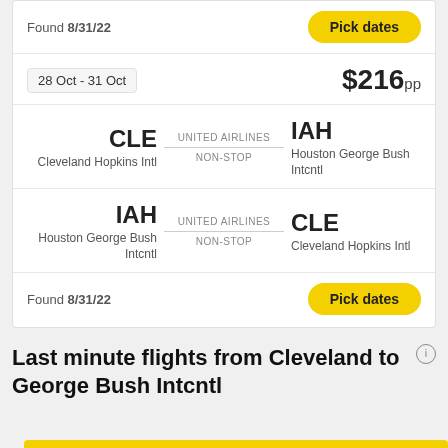Found 8/31/22
Pick dates
28 Oct - 31 Oct
$216pp
CLE
Cleveland Hopkins Intl
UNITED AIRLINES
NON-STOP
IAH
Houston George Bush Intcntl
IAH
Houston George Bush Intcntl
UNITED AIRLINES
NON-STOP
CLE
Cleveland Hopkins Intl
Found 8/31/22
Pick dates
Last minute flights from Cleveland to George Bush Intcntl